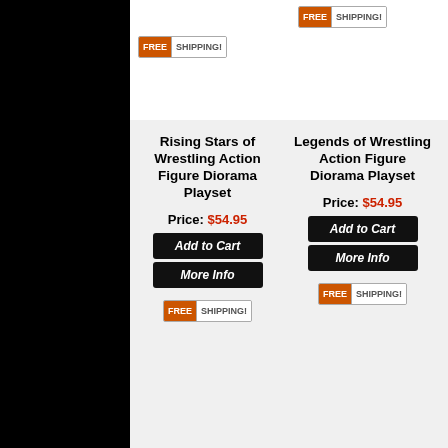[Figure (screenshot): Free Shipping badge top-left product]
[Figure (screenshot): Free Shipping badge top-right product]
Rising Stars of Wrestling Action Figure Diorama Playset
Price: $54.95
[Figure (screenshot): Add to Cart and More Info buttons for Rising Stars]
[Figure (screenshot): Free Shipping badge for Rising Stars]
Legends of Wrestling Action Figure Diorama Playset
Price: $54.95
[Figure (screenshot): Add to Cart and More Info buttons for Legends]
[Figure (screenshot): Free Shipping badge for Legends]
Female Interviewer for WWE Wrestling Action Figures
MSRP: $29.99 Price: $21.99 You Save: 27 %
[Figure (screenshot): Add to Cart and More Info buttons for Female Interviewer]
Commentator with Headphones & Microphone for WWE Wrestling Action Figures
MSRP: $29.99 Price: $21.99 You Save: 27 %
[Figure (screenshot): Add to Cart and More Info buttons for Commentator]